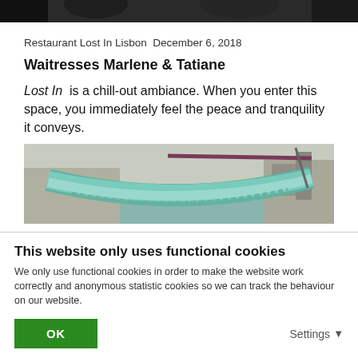[Figure (photo): Top portion of a photo showing dark background, partial view of people]
Restaurant Lost In Lisbon December 6, 2018
Waitresses Marlene & Tatiane
Lost In is a chill-out ambiance. When you enter this space, you immediately feel the peace and tranquility it conveys.
[Figure (photo): Photo of a colorful hammock or textile hanging in what appears to be the restaurant interior]
This website only uses functional cookies
We only use functional cookies in order to make the website work correctly and anonymous statistic cookies so we can track the behaviour on our website.
OK
Settings